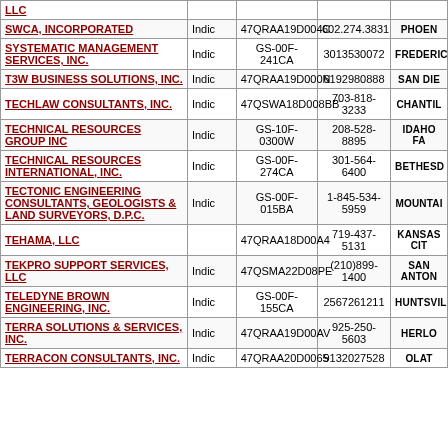| Company | Type | Contract | Phone | City |
| --- | --- | --- | --- | --- |
| LLC |  |  |  |  |
| SWCA, INCORPORATED | Indic | 47QRAA19D004C | 602.274.3831 | PHOEN |
| SYSTEMATIC MANAGEMENT SERVICES, INC. | Indic | GS-00F-241CA | 3013530072 | FREDERIC |
| T3W BUSINESS SOLUTIONS, INC. | Indic | 47QRAA19D000N | 6192980888 | SAN DIE |
| TECHLAW CONSULTANTS, INC. | Indic | 47QSWA18D008BB | 703-818-3233 | CHANTIL |
| TECHNICAL RESOURCES GROUP INC | Indic | GS-10F-0300W | 208-528-8895 | IDAHO FA |
| TECHNICAL RESOURCES INTERNATIONAL, INC. | Indic | GS-00F-274CA | 301-564-6400 | BETHESD |
| TECTONIC ENGINEERING CONSULTANTS, GEOLOGISTS & LAND SURVEYORS, D.P.C. | Indic | GS-00F-015BA | 1-845-534-5959 | MOUNTAI |
| TEHAMA, LLC |  | 47QRAA18D00A4 | 719-437-5131 | KANSAS CIT |
| TEKPRO SUPPORT SERVICES, LLC | Indic | 47QSMA22D08PE | (210)899-1400 | SAN ANTON |
| TELEDYNE BROWN ENGINEERING, INC. | Indic | GS-00F-155CA | 2567261211 | HUNSVIL |
| TERRA SOLUTIONS & SERVICES, INC. | Indic | 47QRAA19D00AV | 925-250-5603 | HERLO |
| TERRACON CONSULTANTS, INC. | Indic | 47QRAA20D0065 | 9132027528 | OLAT |